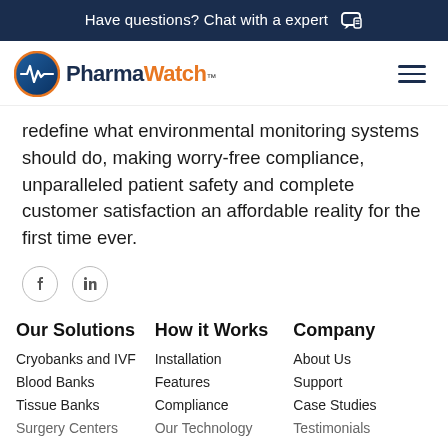Have questions? Chat with a expert
[Figure (logo): PharmaWatch logo with circular blue icon and orange/blue text]
redefine what environmental monitoring systems should do, making worry-free compliance, unparalleled patient safety and complete customer satisfaction an affordable reality for the first time ever.
[Figure (other): Social media icons: Facebook and LinkedIn]
Our Solutions
How it Works
Company
Cryobanks and IVF
Blood Banks
Tissue Banks
Surgery Centers
Installation
Features
Compliance
Our Technology
About Us
Support
Case Studies
Testimonials